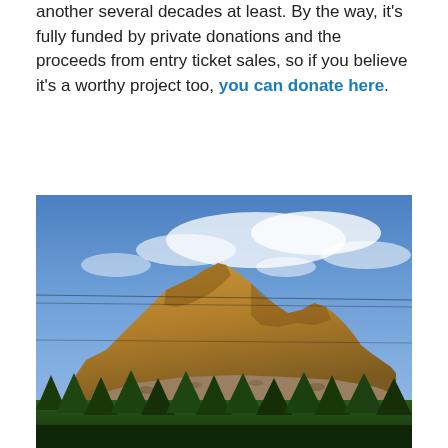another several decades at least. By the way, it's fully funded by private donations and the proceeds from entry ticket sales, so if you believe it's a worthy project too, you can donate here.
[Figure (photo): Outdoor photograph showing a large rocky mountain peak with exposed brown/tan rock face, blue sky with scattered white clouds above, and dark green coniferous trees in the foreground. Power lines are visible crossing the scene.]